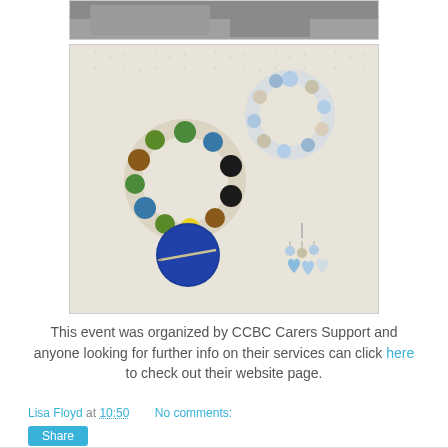[Figure (photo): Partial black and white photo visible at top]
[Figure (photo): Photo of handmade bead jewelry items including rings and earrings with colorful beads on a textured cream background]
This event was organized by CCBC Carers Support and anyone looking for further info on their services can click here to check out their website page.
Lisa Floyd at 10:50    No comments:
Share